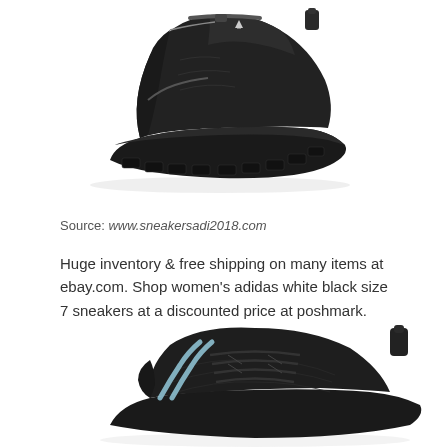[Figure (photo): Black Adidas sneaker/outdoor shoe viewed from the side and bottom, showing rugged sole, photographed on white background]
Source: www.sneakersadi2018.com
Huge inventory & free shipping on many items at ebay.com. Shop women's adidas white black size 7 sneakers at a discounted price at poshmark.
[Figure (photo): Black Adidas women's sneakers with light blue stripe accents, lace-up style, photographed at an angle on white background]